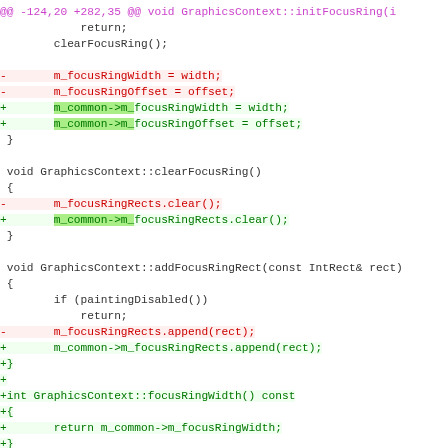diff hunk header and code diff showing GraphicsContext focus ring refactor